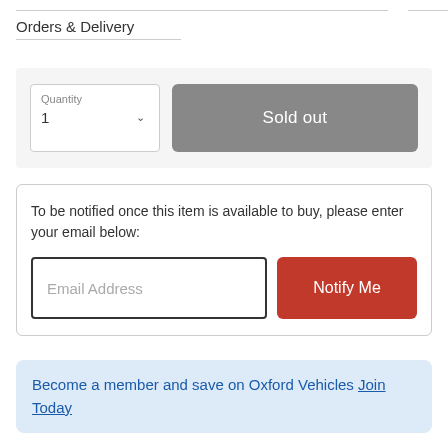Orders & Delivery
[Figure (screenshot): Order quantity selector showing '1' with dropdown chevron, next to a grey 'Sold out' button]
To be notified once this item is available to buy, please enter your email below:
[Figure (screenshot): Email address input field with placeholder text 'Email Address' and a red 'Notify Me' button]
Become a member and save on Oxford Vehicles Join Today